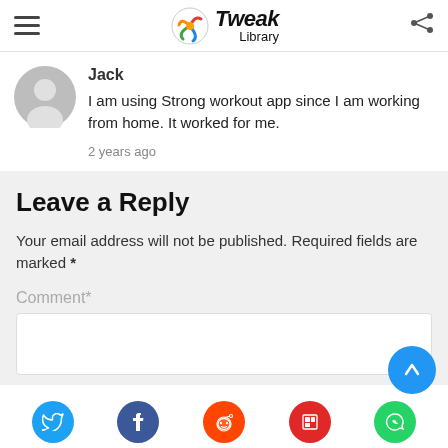Tweak Library
Jack
I am using Strong workout app since I am working from home. It worked for me.
2 years ago
Leave a Reply
Your email address will not be published. Required fields are marked *
Comment*
Social share icons: Twitter, Facebook, Reddit, Flipboard, WhatsApp